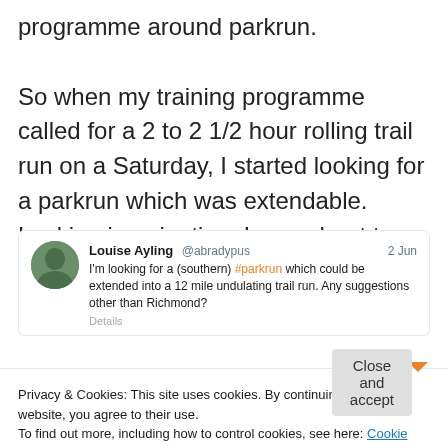programme around parkrun.

So when my training programme called for a 2 to 2 1/2 hour rolling trail run on a Saturday, I started looking for a parkrun which was extendable.  Lacking imagination, I was about to settle on Richmond (again) when I had the idea of asking Twitter.
[Figure (screenshot): Tweet from Louise Ayling (@abradypus) dated 2 Jun: 'I'm looking for a (southern) #parkrun which could be extended into a 12 mile undulating trail run. Any suggestions other than Richmond?' with a Details link below.]
Privacy & Cookies: This site uses cookies. By continuing to use this website, you agree to their use.
To find out more, including how to control cookies, see here: Cookie Policy
Close and accept